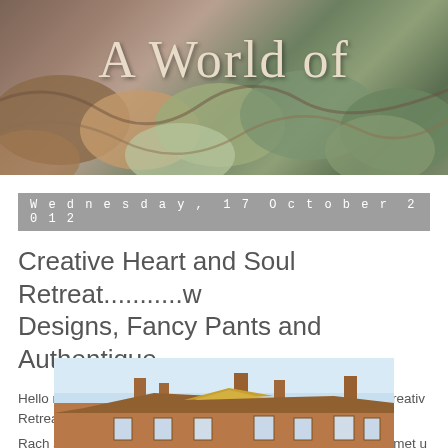[Figure (photo): Blog header image showing colorful yarn/wool skeins in earthy tones with overlaid text 'A World of' in serif font]
Wednesday, 17 October 2012
Creative Heart and Soul Retreat...........w... Designs, Fancy Pants and Authentique.
Hello my friends, I'm back today to share my weekend at the Creativ... Retreat, it was amazing and so much fun !!!!!
Rach and I arrived at Antsy Hall on Friday afternoon where we met u... who also go to Bromsgrove crop. We literately dropped our bags in t... down to register, meeting Debbie and Tracie, who organised this am... stop from then on!!!!
This is the beautiful hotel we stayed at, in Coventry.
[Figure (photo): Photograph of a beautiful brick hotel building in Coventry under a blue sky]